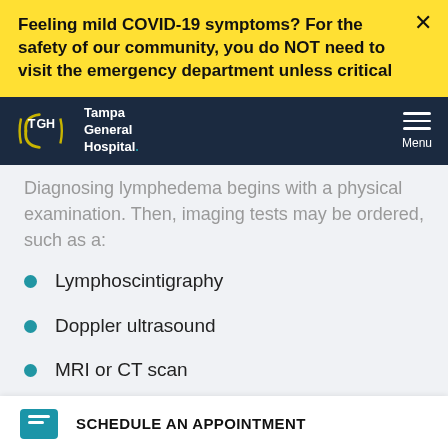Feeling mild COVID-19 symptoms? For the safety of our community, you do NOT need to visit the emergency department unless critical
[Figure (logo): Tampa General Hospital (TGH) logo with white text on navy background]
Diagnosing lymphedema begins with a physical examination. Then, imaging tests may be ordered, such as a:
Lymphoscintigraphy
Doppler ultrasound
MRI or CT scan
Bioimpedance spectroscopy
SCHEDULE AN APPOINTMENT
Indocyanine green lymphography (ICG)